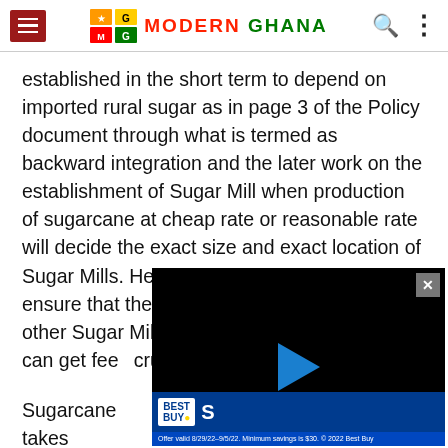Modern Ghana - navigation header with hamburger menu, logo, search and menu icons
established in the short term to depend on imported rural sugar as in page 3 of the Policy document through what is termed as backward integration and the later work on the establishment of Sugar Mill when production of sugarcane at cheap rate or reasonable rate will decide the exact size and exact location of Sugar Mills. Hence a very brilliant idea to ensure that the Sugar Mill at Komenda and other Sugar Mills in other areas are [obscured] Mills can get fee[d] crushing and mi[ll]
[Figure (screenshot): Black video player overlay with blue play button triangle and X close button in top right corner]
[Figure (screenshot): Best Buy advertisement banner with blue background, Best Buy logo, and offer valid 8/29/22-9/5/22 text]
Sugarcane takes [obscured] plantin[g] the Su[gar]